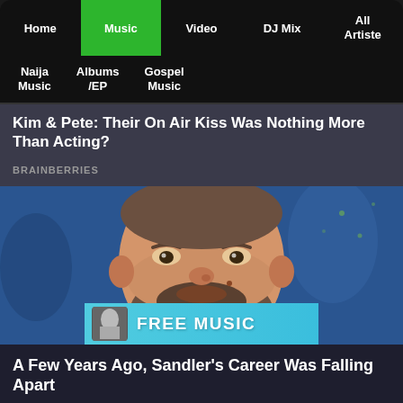Home | Music | Video | DJ Mix | All Artiste
Naija Music | Albums /EP | Gospel Music
Kim & Pete: Their On Air Kiss Was Nothing More Than Acting?
BRAINBERRIES
[Figure (photo): Close-up photo of a bearded man (Adam Sandler) with a blue background, and a FREE MUSIC banner overlay at the bottom]
A Few Years Ago, Sandler's Career Was Falling Apart
BRAINBERRIES